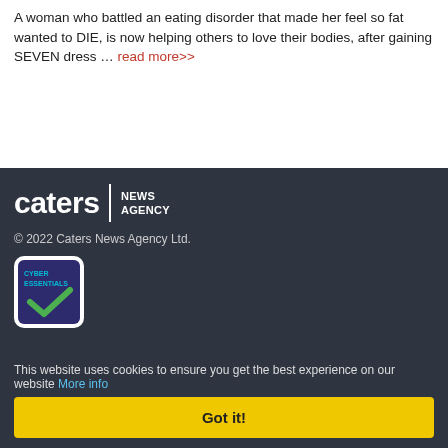A woman who battled an eating disorder that made her feel so fat wanted to DIE, is now helping others to love their bodies, after gaining SEVEN dress … read more>>
[Figure (logo): Caters News Agency logo — white text on dark background]
© 2022 Caters News Agency Ltd.
[Figure (logo): Cyber Essentials badge — white rounded rectangle with CYBER ESSENTIALS text and a blue checkmark on dark purple background]
Follow @Caters_News
This website uses cookies to ensure you get the best experience on our website More info
Got it!